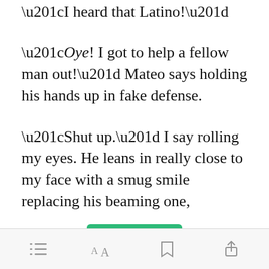“I heard that Latino!”
“Oye! I got to help a fellow man out!” Mateo says holding his hands up in fake defense.
“Shut up.” I say rolling my eyes. He leans in really close to my face with a smug smile replacing his beaming one,
[Figure (screenshot): Green 'Open in app' button]
Toolbar with list, font, bookmark, and share icons